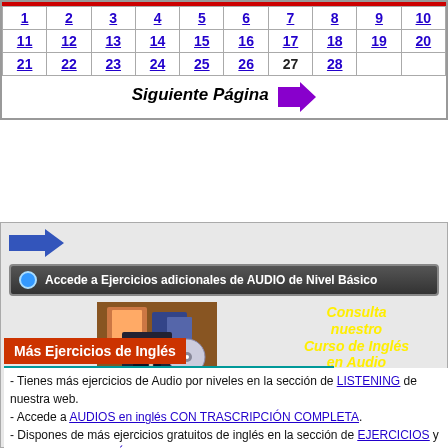| 1 | 2 | 3 | 4 | 5 | 6 | 7 | 8 | 9 | 10 |
| 11 | 12 | 13 | 14 | 15 | 16 | 17 | 18 | 19 | 20 |
| 21 | 22 | 23 | 24 | 25 | 26 | 27 | 28 |  |  |
Siguiente Página →
[Figure (illustration): Blue arrow pointing right]
Accede a Ejercicios adicionales de AUDIO de Nivel Básico
[Figure (illustration): Promotional image for Curso de Inglés en Audio with text 'Consulta nuestro Curso de Inglés en Audio' in yellow]
Más Ejercicios de Inglés
- Tienes más ejercicios de Audio por niveles en la sección de LISTENING de nuestra web.
- Accede a AUDIOS en inglés CON TRASCRIPCIÓN COMPLETA.
- Dispones de más ejercicios gratuitos de inglés en la sección de EJERCICIOS y en la sección de PRÁCTICA de La Mansión del Inglés.
- De forma continua publicamos en nuestro canal de Facebook ejercicios para